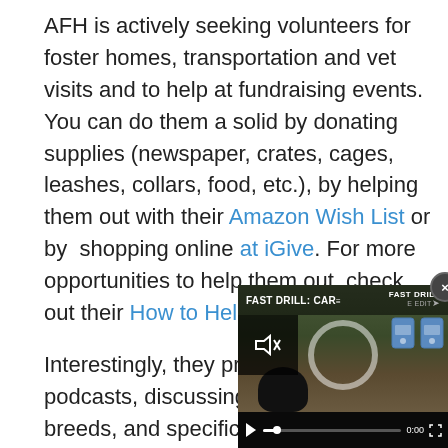AFH is actively seeking volunteers for foster homes, transportation and vet visits and to help at fundraising events. You can do them a solid by donating supplies (newspaper, crates, cages, leashes, collars, food, etc.), by helping them out with their Amazon Wish List or by shopping online at iGive. For more opportunities to help them out, check out their How to Help page.
Interestingly, they produce frequent podcasts, discussing animal care, dog breeds, and specific canines up for adoption. Y...
Feel free to leave suggest... organizations in your area...
[Figure (screenshot): Embedded video overlay showing 'FAST DRILL: CAR...' with video player controls including mute, play/pause, progress bar, timestamp 0:00, fullscreen, and a close (x) button. Background shows an outdoor shooting range scene.]